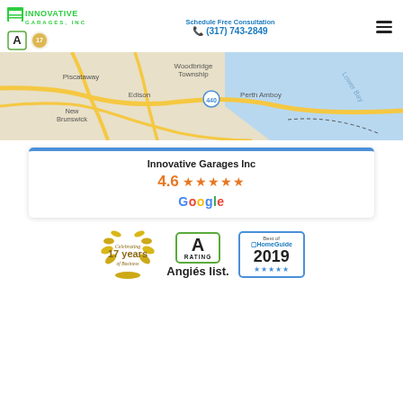[Figure (logo): Innovative Garages, Inc. logo with green text and award badges]
Schedule Free Consultation
(317) 743-2849
[Figure (map): Google Map showing Piscataway, Woodbridge Township, Edison, Perth Amboy, New Brunswick, Lower Bay area in New Jersey]
[Figure (infographic): Google rating card showing Innovative Garages Inc with 4.6 star rating and Google logo]
[Figure (infographic): Three badges: Celebrating 17 Years of Business laurel wreath, Angie's List A Rating, Best of HomeGuide 2019 with 5 stars]